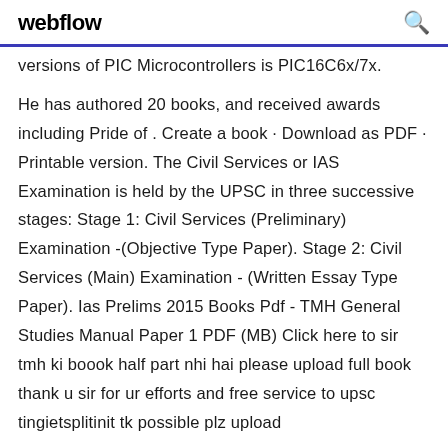webflow  🔍
versions of PIC Microcontrollers is PIC16C6x/7x.
He has authored 20 books, and received awards including Pride of . Create a book · Download as PDF · Printable version. The Civil Services or IAS Examination is held by the UPSC in three successive stages: Stage 1: Civil Services (Preliminary) Examination -(Objective Type Paper). Stage 2: Civil Services (Main) Examination - (Written Essay Type Paper). Ias Prelims 2015 Books Pdf - TMH General Studies Manual Paper 1 PDF (MB) Click here to sir tmh ki boook half part nhi hai please upload full book thank u sir for ur efforts and free service to upsc tingietsplitinit tk possible plz upload